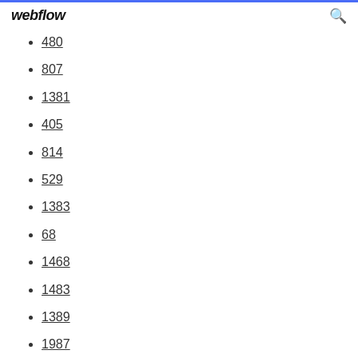webflow
480
807
1381
405
814
529
1383
68
1468
1483
1389
1987
18